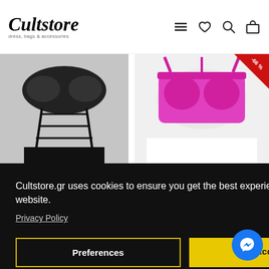[Figure (screenshot): Cultstore website header with logo on left and navigation icons (hamburger menu, heart, search, cart) on right]
[Figure (photo): Black women swimwear product photo - black bikini with strappy design on white background]
WOMEN SWIMW...
7.81€  22.06€
[Figure (photo): Pink/magenta women swimwear product photo on white background]
WOMEN SWIMW...
7.81€  22.06€
[Figure (infographic): Cookie consent banner with close button, privacy policy link, Preferences and Accept buttons]
Close
Cultstore.gr uses cookies to ensure you get the best experience on our website.
Privacy Policy
Preferences
Accept